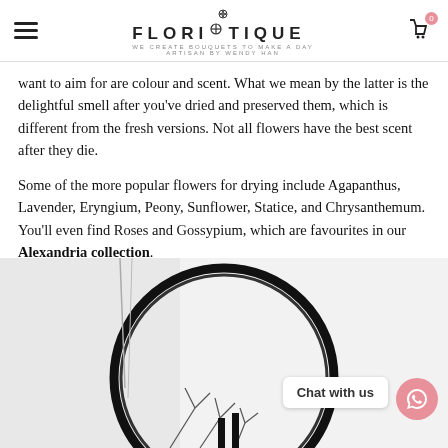FLORISTIQUE — WE CREATE BOUQUETS TO MAKE A DAY — ARTISAN BY WENDY HAN
want to aim for are colour and scent. What we mean by the latter is the delightful smell after you've dried and preserved them, which is different from the fresh versions. Not all flowers have the best scent after they die.
Some of the more popular flowers for drying include Agapanthus, Lavender, Eryngium, Peony, Sunflower, Statice, and Chrysanthemum. You'll even find Roses and Gossypium, which are favourites in our Alexandria collection.
[Figure (photo): A circular black hoop/ring structure with dried floral arrangement, displayed against a light grey-white background. A 'Chat with us' bubble and WhatsApp button are overlaid in the bottom right.]